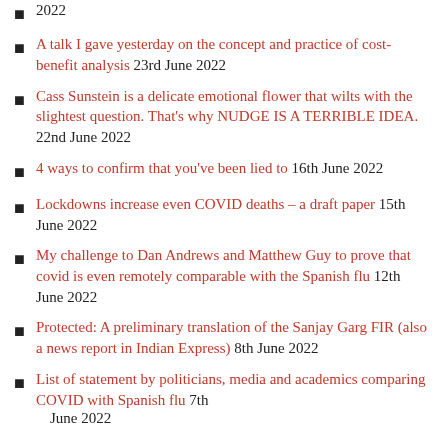2022
A talk I gave yesterday on the concept and practice of cost-benefit analysis 23rd June 2022
Cass Sunstein is a delicate emotional flower that wilts with the slightest question. That's why NUDGE IS A TERRIBLE IDEA. 22nd June 2022
4 ways to confirm that you've been lied to 16th June 2022
Lockdowns increase even COVID deaths – a draft paper 15th June 2022
My challenge to Dan Andrews and Matthew Guy to prove that covid is even remotely comparable with the Spanish flu 12th June 2022
Protected: A preliminary translation of the Sanjay Garg FIR (also a news report in Indian Express) 8th June 2022
List of statement by politicians, media and academics comparing COVID with Spanish flu 7th June 2022